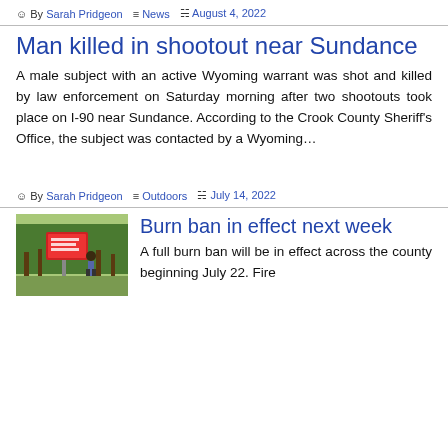By Sarah Pridgeon | News | August 4, 2022
Man killed in shootout near Sundance
A male subject with an active Wyoming warrant was shot and killed by law enforcement on Saturday morning after two shootouts took place on I-90 near Sundance. According to the Crook County Sheriff's Office, the subject was contacted by a Wyoming…
By Sarah Pridgeon | Outdoors | July 14, 2022
Burn ban in effect next week
[Figure (photo): Photo of a fire danger sign in a wooded area with a person standing nearby]
A full burn ban will be in effect across the county beginning July 22. Fire